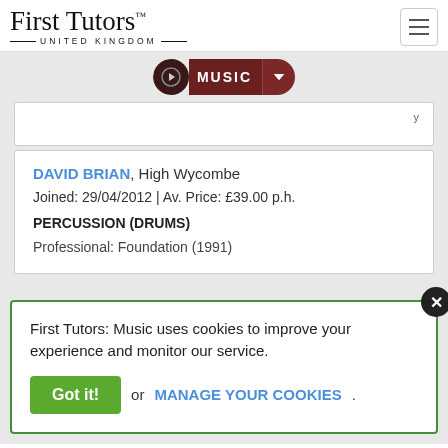[Figure (logo): First Tutors United Kingdom logo with serif font and horizontal rules]
[Figure (other): Hamburger menu icon button]
[Figure (other): Music navigation pill with musical note icon, MUSIC label, and dropdown arrow]
DAVID BRIAN, High Wycombe
Joined: 29/04/2012 | Av. Price: £39.00 p.h.
PERCUSSION (DRUMS)
Professional: Foundation (1991)
First Tutors: Music uses cookies to improve your experience and monitor our service.
Got it! or MANAGE YOUR COOKIES.